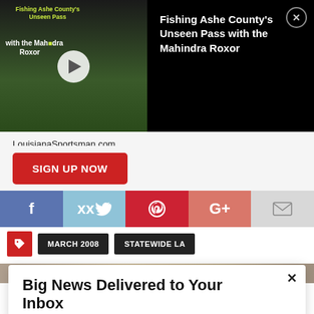[Figure (screenshot): Video overlay showing 'Fishing Ashe County's Unseen Pass with the Mahindra Roxor' thumbnail on left with play button, title text on black background right, and X close button]
LouisianaSportsman.com.
SIGN UP NOW
[Figure (infographic): Social share buttons row: Facebook (f), Twitter (bird), Pinterest (p), Google+ (G+), Email (envelope)]
MARCH 2008   STATEWIDE LA
[Figure (photo): Partial image strip at bottom]
Big News Delivered to Your Inbox